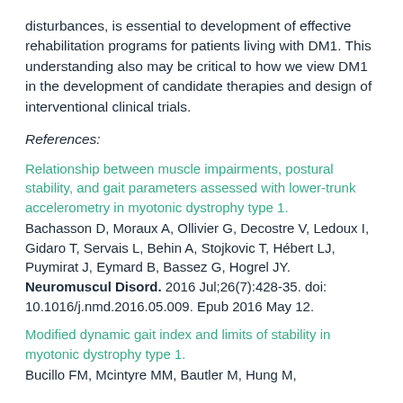disturbances, is essential to development of effective rehabilitation programs for patients living with DM1. This understanding also may be critical to how we view DM1 in the development of candidate therapies and design of interventional clinical trials.
References:
Relationship between muscle impairments, postural stability, and gait parameters assessed with lower-trunk accelerometry in myotonic dystrophy type 1. Bachasson D, Moraux A, Ollivier G, Decostre V, Ledoux I, Gidaro T, Servais L, Behin A, Stojkovic T, Hébert LJ, Puymirat J, Eymard B, Bassez G, Hogrel JY. Neuromuscul Disord. 2016 Jul;26(7):428-35. doi: 10.1016/j.nmd.2016.05.009. Epub 2016 May 12.
Modified dynamic gait index and limits of stability in myotonic dystrophy type 1. Bucillo FM, Mcintyre MM, Bautler M, Hung M,